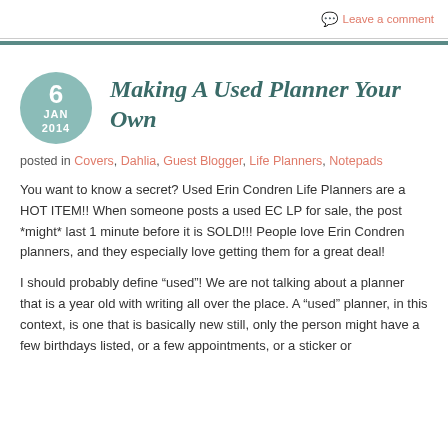Leave a comment
Making A Used Planner Your Own
posted in Covers, Dahlia, Guest Blogger, Life Planners, Notepads
You want to know a secret?  Used Erin Condren Life Planners are a HOT ITEM!!  When someone posts a used EC LP for sale, the post *might* last 1 minute before it is SOLD!!!  People love Erin Condren planners, and they especially love getting them for a great deal!
I should probably define “used”!  We are not talking about a planner that is a year old with writing all over the place.  A “used” planner, in this context, is one that is basically new still, only the person might have a few birthdays listed, or a few appointments, or a sticker or